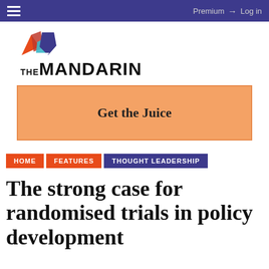Premium  Log in
[Figure (logo): The Mandarin logo with geometric orange, red and blue/purple diamond shapes above the text THE MANDARIN]
[Figure (infographic): Orange advertisement banner reading 'Get the Juice']
HOME  FEATURES  THOUGHT LEADERSHIP
The strong case for randomised trials in policy development